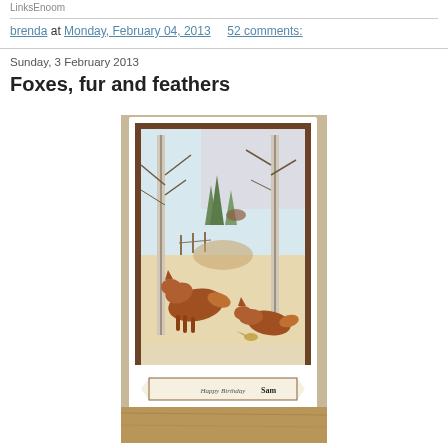LinksEnoom
brenda at Monday, February 04, 2013   52 comments:
Sunday, 3 February 2013
Foxes, fur and feathers
[Figure (photo): A handmade greeting card featuring two foxes in a winter woodland scene with birch trees, snow, and a fence. The card has a brown mat border and a banner at the bottom reading 'Happy Birthday Sam'. The card is propped on a wooden surface.]